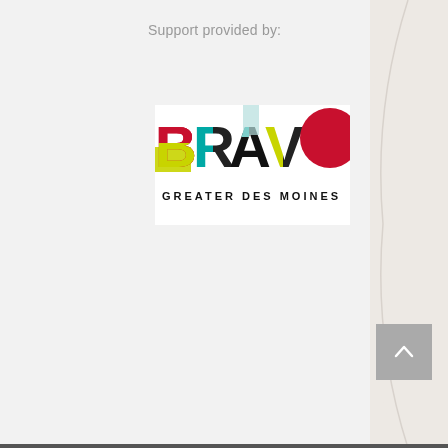Support provided by:
[Figure (logo): BRAVO Greater Des Moines logo — colorful lettering with B in red/yellow, R in teal/black, A in black/teal, V in yellow/black, O as red circle; subtitle reads GREATER DES MOINES in black spaced caps]